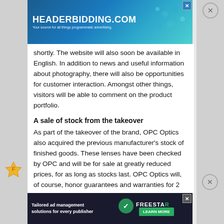[Figure (other): HEADERBIDDING.COM advertisement banner — 'Your source for all things programmatic advertising.']
shortly. The website will also soon be available in English. In addition to news and useful information about photography, there will also be opportunities for customer interaction. Amongst other things, visitors will be able to comment on the product portfolio.
A sale of stock from the takeover
As part of the takeover of the brand, OPC Optics also acquired the previous manufacturer's stock of finished goods. These lenses have been checked by OPC and will be for sale at greatly reduced prices, for as long as stocks last. OPC Optics will, of course, honor guarantees and warranties for 2 years from the date of purchase. Any subsequent production of these lens designs or their components is not envisaged in the current development plan.
[Figure (other): Freestar ad — 'Tailored ad management solutions for every publisher' with LEARN MORE button]